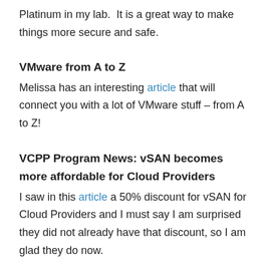Platinum in my lab. It is a great way to make things more secure and safe.
VMware from A to Z
Melissa has an interesting article that will connect you with a lot of VMware stuff – from A to Z!
VCPP Program News: vSAN becomes more affordable for Cloud Providers
I saw in this article a 50% discount for vSAN for Cloud Providers and I must say I am surprised they did not already have that discount, so I am glad they do now.
HCX R124 – Released August 7, 2019
This is a big release, as I see they have an Enterprise version that will be quite helpful to people I think. See also...